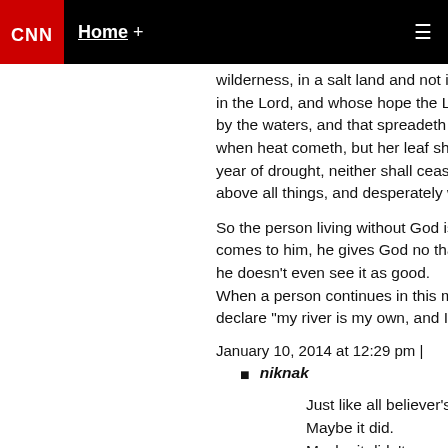CNN — Home +
wilderness, in a salt land and not inhabited. 7 Bl... in the Lord, and whose hope the Lord is. 8 For h... by the waters, and that spreadeth out her roots b... when heat cometh, but her leaf shall be green; a... year of drought, neither shall cease from yielding... above all things, and desperately wicked: who c...
So the person living without God is also blessed, ... comes to him, he gives God no thanks for; matte... he doesn't even see it as good. When a person continues in this manner, they be... declare "my river is my own, and I have made it ...
January 10, 2014 at 12:29 pm |
niknak
Just like all believer's you have zero proof t... Maybe it did. Maybe it didn't. Maybe it does not exist.